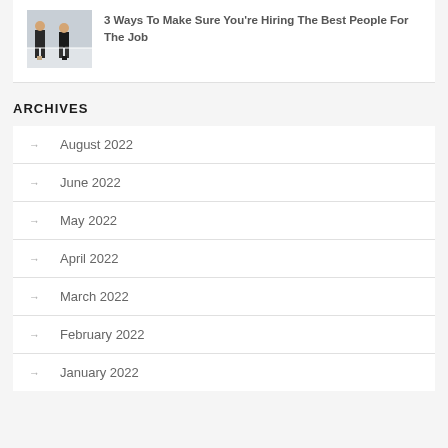[Figure (photo): Photo of people sitting, appears to be a job interview or waiting room scene with people in business attire]
3 Ways To Make Sure You're Hiring The Best People For The Job
ARCHIVES
August 2022
June 2022
May 2022
April 2022
March 2022
February 2022
January 2022